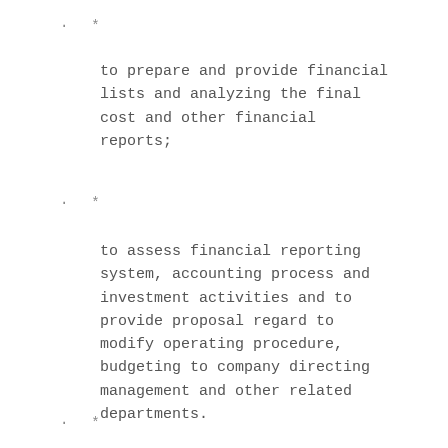* to prepare and provide financial lists and analyzing the final cost and other financial reports;
* to assess financial reporting system, accounting process and investment activities and to provide proposal regard to modify operating procedure, budgeting to company directing management and other related departments.
*